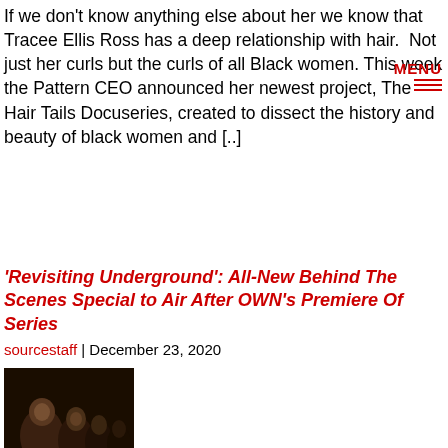If we don't know anything else about her we know that Tracee Ellis Ross has a deep relationship with hair.  Not just her curls but the curls of all Black women. This week the Pattern CEO announced her newest project, The Hair Tails Docuseries, created to dissect the history and beauty of black women and [..]
'Revisiting Underground': All-New Behind The Scenes Special to Air After OWN's Premiere Of Series
sourcestaff | December 23, 2020
[Figure (photo): Still image from Underground series showing people, with 'UNDERGR' text overlay at bottom]
Oprah Winfrey's OWN is set to air a behind-the-scenes special of Sony Pictures' Underground series titled Revisiting Underground. This never-before-seen special will follow the Jan. 5 OWN network premiere of the critically-acclaimed, historical drama based on the Underground Railroad.  OWN originally acquired the first two seasons of the drama, which first aired on WGN America, from [..]